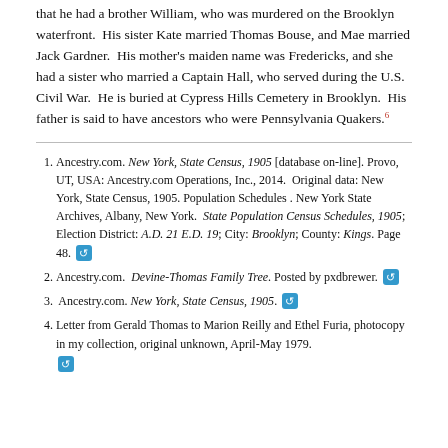that he had a brother William, who was murdered on the Brooklyn waterfront.  His sister Kate married Thomas Bouse, and Mae married Jack Gardner.  His mother's maiden name was Fredericks, and she had a sister who married a Captain Hall, who served during the U.S. Civil War.  He is buried at Cypress Hills Cemetery in Brooklyn.  His father is said to have ancestors who were Pennsylvania Quakers.[6]
1. Ancestry.com. New York, State Census, 1905 [database on-line]. Provo, UT, USA: Ancestry.com Operations, Inc., 2014.  Original data: New York, State Census, 1905. Population Schedules . New York State Archives, Albany, New York.  State Population Census Schedules, 1905; Election District: A.D. 21 E.D. 19; City: Brooklyn; County: Kings. Page 48. [link]
2. Ancestry.com.  Devine-Thomas Family Tree. Posted by pxdbrewer. [link]
3.  Ancestry.com. New York, State Census, 1905. [link]
4. Letter from Gerald Thomas to Marion Reilly and Ethel Furia, photocopy in my collection, original unknown, April-May 1979. [link]